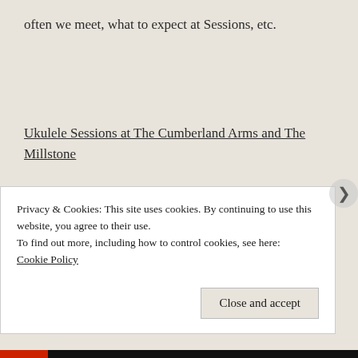often we meet, what to expect at Sessions, etc.
Ukulele Sessions at The Cumberland Arms and The Millstone
Calendar
If i...
Privacy & Cookies: This site uses cookies. By continuing to use this website, you agree to their use.
To find out more, including how to control cookies, see here:
Cookie Policy
Close and accept